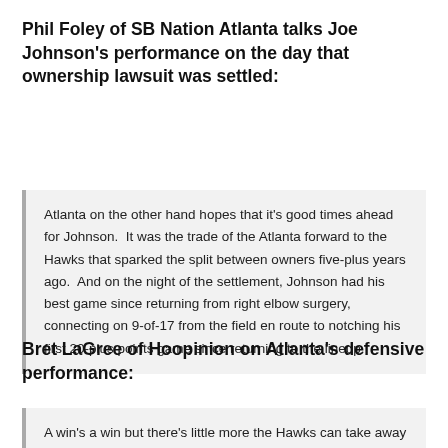Phil Foley of SB Nation Atlanta talks Joe Johnson's performance on the day that ownership lawsuit was settled:
Atlanta on the other hand hopes that it's good times ahead for Johnson.  It was the trade of the Atlanta forward to the Hawks that sparked the split between owners five-plus years ago.  And on the night of the settlement, Johnson had his best game since returning from right elbow surgery, connecting on 9-of-17 from the field en route to notching his first 20-plus points game since returning to the lineup.
Bret LaGree of Hoopinion on Atlanta's defensive performance:
A win's a win but there's little more the Hawks can take away